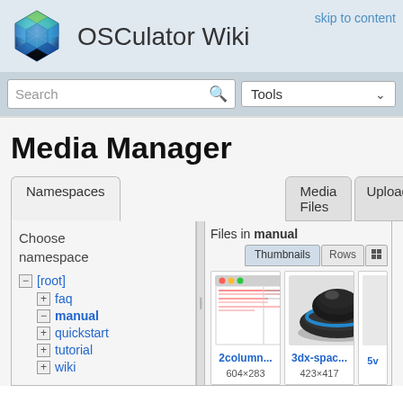OSCulator Wiki  skip to content
Media Manager
Namespaces | Media Files | Upload | Search
Choose namespace
Files in manual
Thumbnails  Rows
- [root]
+ faq
- manual
+ quickstart
+ tutorial
+ wiki
[Figure (screenshot): Thumbnail of 2column file, 604x283]
2column...
604×283
[Figure (photo): Thumbnail of 3dx-spac file, 423x417, 3D space navigator device]
3dx-spac...
423×417